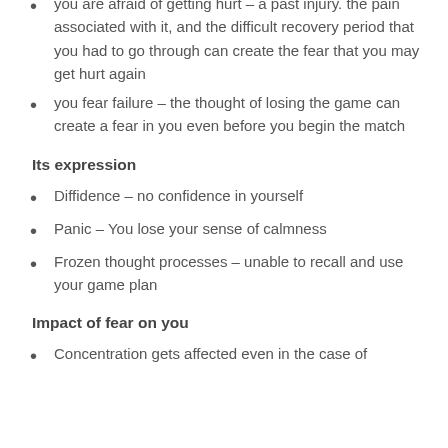you are afraid of getting hurt – a past injury. the pain associated with it, and the difficult recovery period that you had to go through can create the fear that you may get hurt again
you fear failure – the thought of losing the game can create a fear in you even before you begin the match
Its expression
Diffidence – no confidence in yourself
Panic – You lose your sense of calmness
Frozen thought processes – unable to recall and use your game plan
Impact of fear on you
Concentration gets affected even in the case of